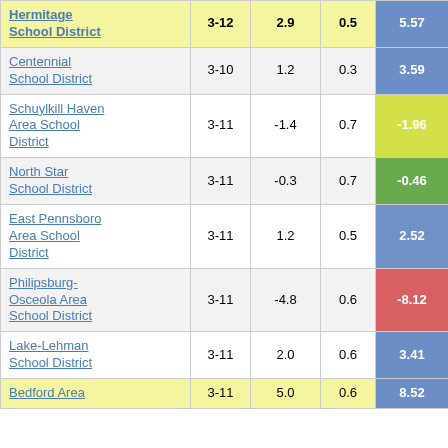| School District | Grades | Col3 | Col4 | Score |
| --- | --- | --- | --- | --- |
| Hermitage School District | 3-12 | 2.9 | 0.5 | 5.57 |
| Centennial School District | 3-10 | 1.2 | 0.3 | 3.59 |
| Schuylkill Haven Area School District | 3-11 | -1.4 | 0.7 | -1.96 |
| North Star School District | 3-11 | -0.3 | 0.7 | -0.46 |
| East Pennsboro Area School District | 3-11 | 1.2 | 0.5 | 2.52 |
| Philipsburg-Osceola Area School District | 3-11 | -4.8 | 0.6 | -8.12 |
| Lake-Lehman School District | 3-11 | 2.0 | 0.6 | 3.41 |
| Bedford Area | 3-11 | 5.0 | 0.6 | 8.52 |